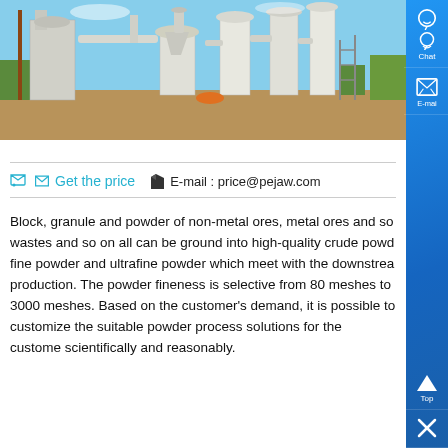[Figure (photo): Industrial powder processing facility with large white hoppers, cyclone separators, pipes and conveyor systems on a construction/industrial site with blue sky background.]
💬 Get the price   🏷E-mail : price@pejaw.com
Block, granule and powder of non-metal ores, metal ores and so wastes and so on all can be ground into high-quality crude powd fine powder and ultrafine powder which meet with the downstrea production. The powder fineness is selective from 80 meshes to 3000 meshes. Based on the customer's demand, it is possible to customize the suitable powder process solutions for the custome scientifically and reasonably.